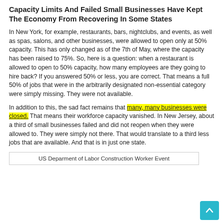Capacity Limits And Failed Small Businesses Have Kept The Economy From Recovering In Some States
In New York, for example, restaurants, bars, nightclubs, and events, as well as spas, salons, and other businesses, were allowed to open only at 50% capacity. This has only changed as of the 7th of May, where the capacity has been raised to 75%. So, here is a question: when a restaurant is allowed to open to 50% capacity, how many employees are they going to hire back? If you answered 50% or less, you are correct. That means a full 50% of jobs that were in the arbitrarily designated non-essential category were simply missing. They were not available.
In addition to this, the sad fact remains that many, many businesses were closed. That means their workforce capacity vanished. In New Jersey, about a third of small businesses failed and did not reopen when they were allowed to. They were simply not there. That would translate to a third less jobs that are available. And that is in just one state.
US Deparment of Labor Construction Worker Event